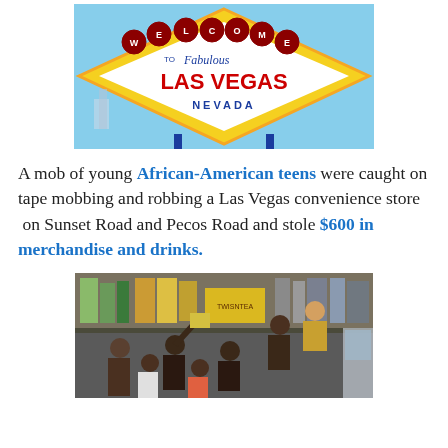[Figure (photo): Welcome to Fabulous Las Vegas Nevada sign against blue sky]
A mob of young African-American teens were caught on tape mobbing and robbing a Las Vegas convenience store on Sunset Road and Pecos Road and stole $600 in merchandise and drinks.
[Figure (photo): Security camera footage of people inside a convenience store]